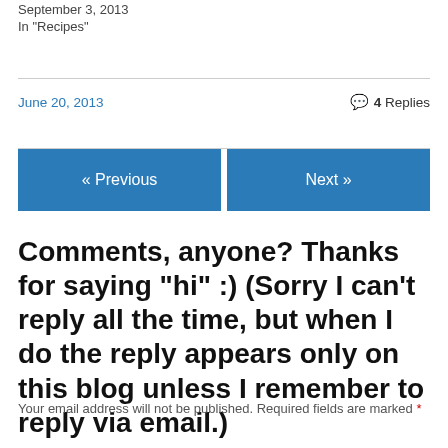September 3, 2013
In "Recipes"
June 20, 2013
4 Replies
« Previous
Next »
Comments, anyone? Thanks for saying "hi" :) (Sorry I can't reply all the time, but when I do the reply appears only on this blog unless I remember to reply via email.)
Your email address will not be published. Required fields are marked *